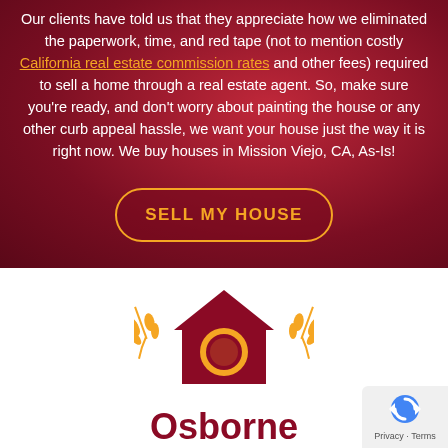Our clients have told us that they appreciate how we eliminated the paperwork, time, and red tape (not to mention costly California real estate commission rates and other fees) required to sell a home through a real estate agent. So, make sure you're ready, and don't worry about painting the house or any other curb appeal hassle, we want your house just the way it is right now. We buy houses in Mission Viejo, CA, As-Is!
[Figure (other): Button with gold border and text 'SELL MY HOUSE' on dark red background]
[Figure (logo): Osborne No Hassle logo: dark red house icon with gold circular emblem and wheat/laurel branches, 'Osborne' in dark red text, 'No Hassle' in gold text below]
[Figure (other): Privacy/reCAPTCHA badge in bottom right corner with gray background]